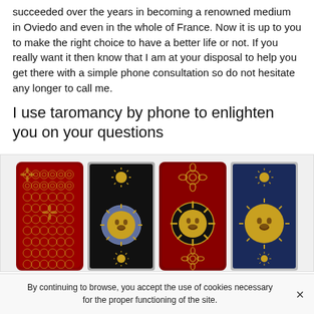succeeded over the years in becoming a renowned medium in Oviedo and even in the whole of France. Now it is up to you to make the right choice to have a better life or not. If you really want it then know that I am at your disposal to help you get there with a simple phone consultation so do not hesitate any longer to call me.
I use taromancy by phone to enlighten you on your questions
[Figure (illustration): Four tarot cards displayed side by side. Card 1: red background with floral/mandala pattern. Card 2: black background with golden sun symbol at top, large blue and gold sun face in center, small sun at bottom. Card 3: dark red background with large sun face in center and decorative floral elements. Card 4: navy blue background with small sun at top, large gold sun face in center, small sun at bottom, with dotted border pattern.]
By continuing to browse, you accept the use of cookies necessary for the proper functioning of the site.